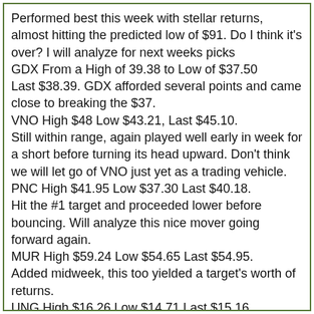Performed best this week with stellar returns, almost hitting the predicted low of $91. Do I think it's over? I will analyze for next weeks picks
GDX From a High of 39.38 to Low of $37.50
Last $38.39. GDX afforded several points and came close to breaking the $37.
VNO High $48 Low $43.21, Last $45.10.
Still within range, again played well early in week for a short before turning its head upward. Don't think we will let go of VNO just yet as a trading vehicle.
PNC High $41.95 Low $37.30 Last $40.18.
Hit the #1 target and proceeded lower before bouncing. Will analyze this nice mover going forward again.
MUR High $59.24 Low $54.65 Last $54.95.
Added midweek, this too yielded a target's worth of returns.
UNG High $16.26 Low $14.71 Last $15.16.
Also added midweek, this is watched and talked about by so many traders that I thought I'd add into the mix. As stated before the holding that $16 is crucial. Trading against the grain by going long without that $16 support is risking being stopped. Although coming close, UNG never finished the day above $16 for the week.
GOUU High $66.75 Low $62.50 Last $64.55